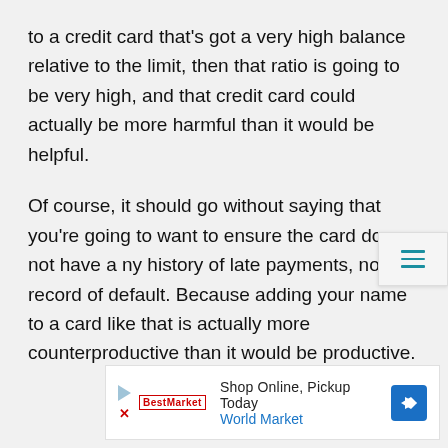to a credit card that's got a very high balance relative to the limit, then that ratio is going to be very high, and that credit card could actually be more harmful than it would be helpful.
Of course, it should go without saying that you're going to want to ensure the card does not have any history of late payments, no record of default. Because adding your name to a card like that is actually more counterproductive than it would be productive.
[Figure (other): Advertisement banner: Shop Online, Pickup Today - World Market, with play button icon, brand logo, and directional arrow icon]